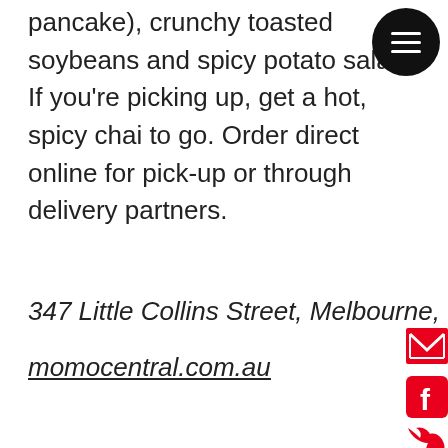pancake), crunchy toasted soybeans and spicy potato salad. If you're picking up, get a hot, spicy chai to go. Order direct online for pick-up or through delivery partners.
347 Little Collins Street, Melbourne,
momocentral.com.au
[Figure (other): hamburger menu button (black circle with three white horizontal lines)]
[Figure (other): email icon (red square with white envelope)]
[Figure (other): Facebook icon (red rounded square with white F)]
[Figure (other): Twitter/X icon (red bird logo)]